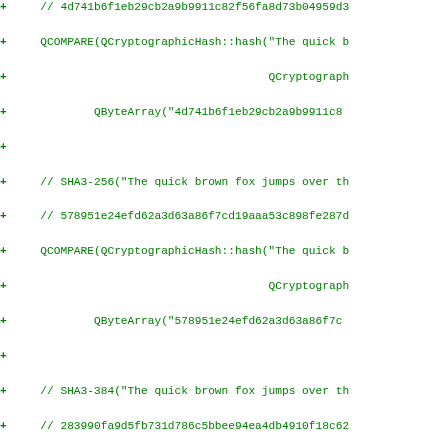Code diff showing cryptographic hash test additions with SHA3-256, SHA3-384, and SHA3-512 QCOMPARE calls using QCryptographicHash::hash and QByteArray